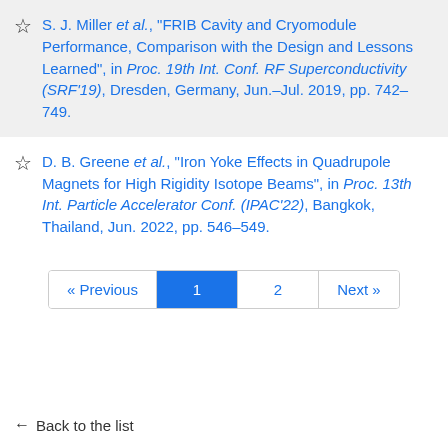S. J. Miller et al., "FRIB Cavity and Cryomodule Performance, Comparison with the Design and Lessons Learned", in Proc. 19th Int. Conf. RF Superconductivity (SRF'19), Dresden, Germany, Jun.-Jul. 2019, pp. 742-749.
D. B. Greene et al., "Iron Yoke Effects in Quadrupole Magnets for High Rigidity Isotope Beams", in Proc. 13th Int. Particle Accelerator Conf. (IPAC'22), Bangkok, Thailand, Jun. 2022, pp. 546-549.
« Previous  1  2  Next »
← Back to the list